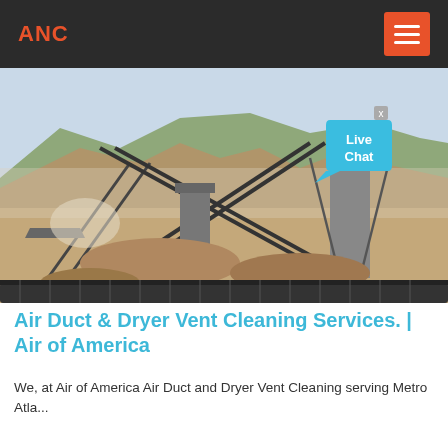ANC
[Figure (photo): Industrial quarry or mining site with large conveyor belts, heavy machinery, piles of crushed stone/gravel, and mountains with green vegetation in the background. A 'Live Chat' speech bubble overlay is visible in the upper right area of the image.]
Air Duct & Dryer Vent Cleaning Services. | Air of America
We, at Air of America Air Duct and Dryer Vent Cleaning serving Metro Atla...